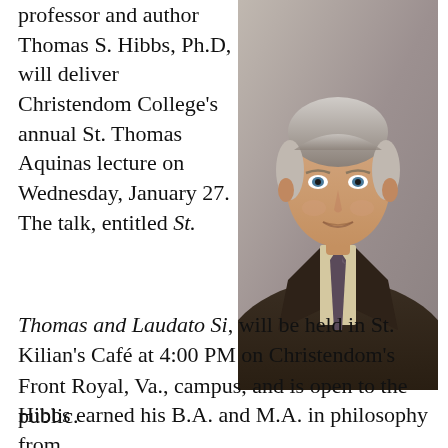professor and author Thomas S. Hibbs, Ph.D, will deliver Christendom College's annual St. Thomas Aquinas lecture on Wednesday, January 27. The talk, entitled St. Thomas and Laudato Si, will be held in St. Kilian's Café at 4:00 PM on Christendom's Front Royal, Va., campus, and is open to the public.
[Figure (photo): Professional headshot of Thomas S. Hibbs, Ph.D — a middle-aged man with grey-brown hair wearing a dark brown suit jacket and patterned tie, against a grey background.]
Hibbs earned his B.A. and M.A. in philosophy from